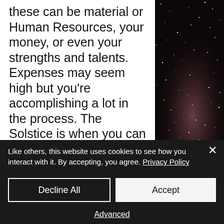these can be material or Human Resources, your money, or even your strengths and talents. Expenses may seem high but you're accomplishing a lot in the process. The Solstice is when you can finally hang up your hat and go on holiday. If you've got a big, ambitious project to launch - especially anything to do with publishing, marketing, law, academia or international relations
[Figure (photo): Night sky / starfield photo with stars and nebula-like pink/brown color in the lower portion]
Like others, this website uses cookies to see how you interact with it. By accepting, you agree. Privacy Policy